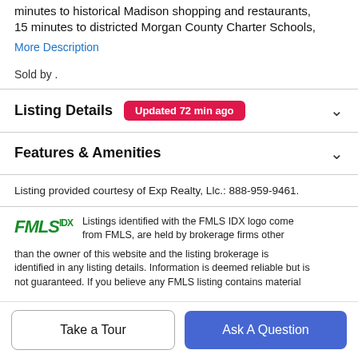minutes to historical Madison shopping and restaurants, 15 minutes to districted Morgan County Charter Schools,
More Description
Sold by .
Listing Details  Updated 72 min ago
Features & Amenities
Listing provided courtesy of Exp Realty, Llc.: 888-959-9461.
Listings identified with the FMLS IDX logo come from FMLS, are held by brokerage firms other than the owner of this website and the listing brokerage is identified in any listing details. Information is deemed reliable but is not guaranteed. If you believe any FMLS listing contains material
Take a Tour
Ask A Question